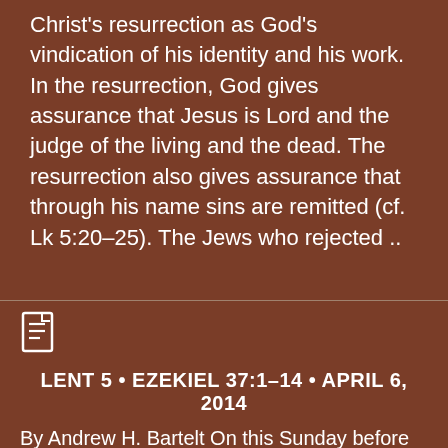Christ's resurrection as God's vindication of his identity and his work. In the resurrection, God gives assurance that Jesus is Lord and the judge of the living and the dead. The resurrection also gives assurance that through his name sins are remitted (cf. Lk 5:20–25). The Jews who rejected ..
[Figure (illustration): Document/page icon in white outline style]
LENT 5 • EZEKIEL 37:1–14 • APRIL 6, 2014
By Andrew H. Bartelt On this Sunday before Passion Week, both Ezekiel 37 and John 11 (the gospel reading) anticipate Easter...